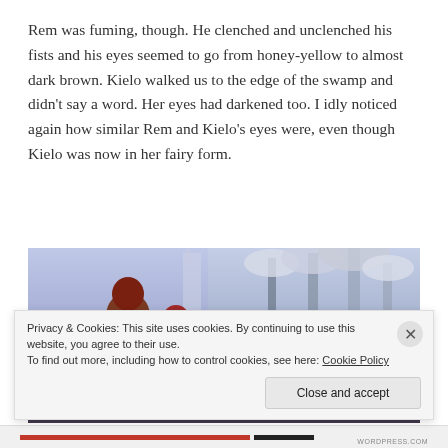Rem was fuming, though. He clenched and unclenched his fists and his eyes seemed to go from honey-yellow to almost dark brown. Kielo walked us to the edge of the swamp and didn't say a word. Her eyes had darkened too. I idly noticed again how similar Rem and Kielo's eyes were, even though Kielo was now in her fairy form.
[Figure (screenshot): A video game screenshot showing two characters with red/brown hair standing in a snowy winter forest scene with a purple-tinted sky and snow-covered trees.]
Privacy & Cookies: This site uses cookies. By continuing to use this website, you agree to their use.
To find out more, including how to control cookies, see here: Cookie Policy
Close and accept